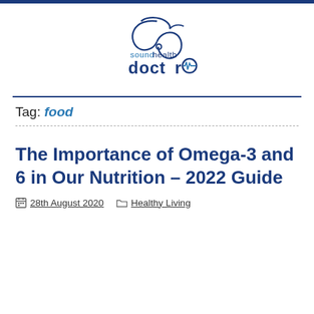[Figure (logo): Sound Health Doctor logo with stylized stethoscope and ECG symbol]
Tag: food
The Importance of Omega-3 and 6 in Our Nutrition – 2022 Guide
28th August 2020   Healthy Living